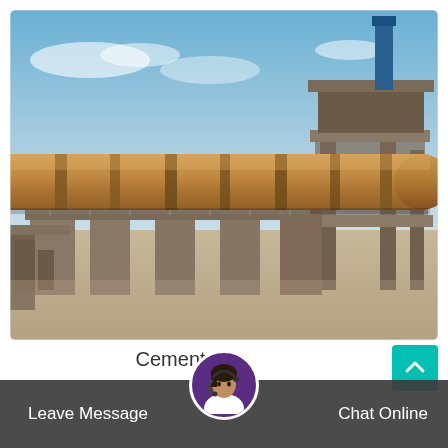[Figure (photo): Photograph of a large industrial cement kiln facility. A long cylindrical rotary kiln drum runs diagonally across the scene from left to right, supported on concrete piers. Behind it is a multi-story concrete and steel processing tower structure. The sky is blue with light clouds. The ground is sandy/dusty. Various industrial equipment, walkways, and support structures are visible.]
Cement Kiln